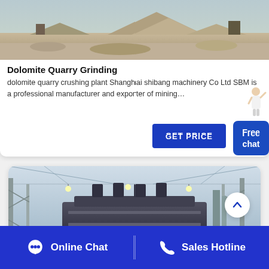[Figure (photo): Dolomite quarry site with crushed stone piles and heavy machinery in background]
Dolomite Quarry Grinding
dolomite quarry crushing plant Shanghai shibang machinery Co Ltd SBM is a professional manufacturer and exporter of mining…
GET PRICE
Free chat
[Figure (photo): Industrial factory interior with heavy machinery/crusher equipment under a large tent-like roof structure with lights]
Online Chat
Sales Hotline